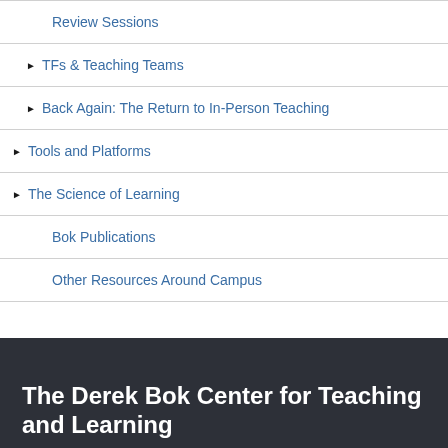Review Sessions
TFs & Teaching Teams
Back Again: The Return to In-Person Teaching
Tools and Platforms
The Science of Learning
Bok Publications
Other Resources Around Campus
The Derek Bok Center for Teaching and Learning